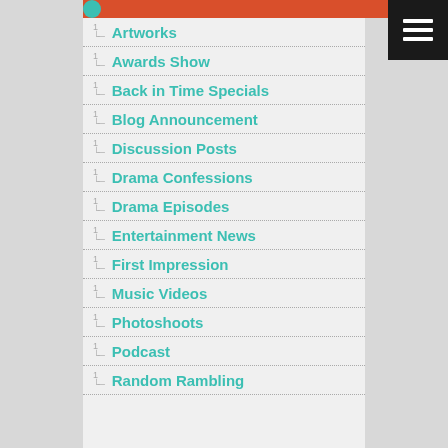Artworks
Awards Show
Back in Time Specials
Blog Announcement
Discussion Posts
Drama Confessions
Drama Episodes
Entertainment News
First Impression
Music Videos
Photoshoots
Podcast
Random Rambling